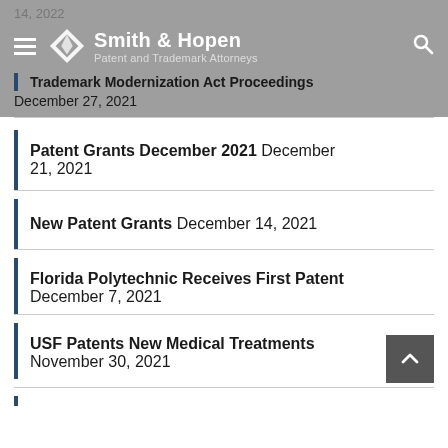14, 2022
Smith & Hopen Patent and Trademark Attorneys
Trademark Modernization Act Proceedings December 27, 2021
Patent Grants December 2021 December 21, 2021
New Patent Grants December 14, 2021
Florida Polytechnic Receives First Patent December 7, 2021
USF Patents New Medical Treatments November 30, 2021